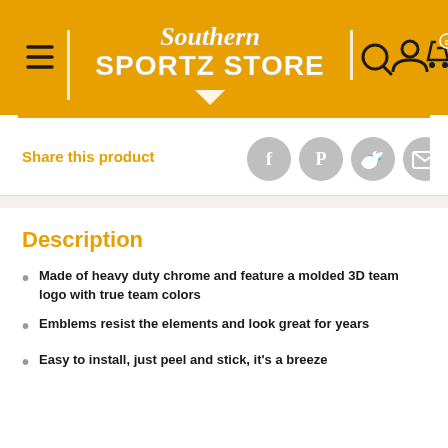[Figure (logo): Southern Sportz Store logo with hamburger menu, search, account, and cart icons on an orange/amber header background]
Share this product
[Figure (infographic): Social share icons: Facebook, Pinterest, Twitter, Email]
Description
Made of heavy duty chrome and feature a molded 3D team logo with true team colors
Emblems resist the elements and look great for years
Easy to install, just peel and stick, it's a breeze